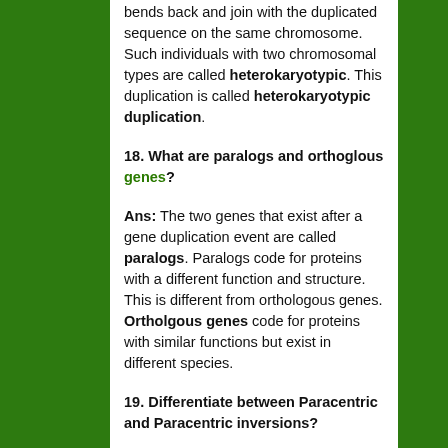bends back and join with the duplicated sequence on the same chromosome. Such individuals with two chromosomal types are called heterokaryotypic. This duplication is called heterokaryotypic duplication.
18. What are paralogs and orthoglous genes?
Ans: The two genes that exist after a gene duplication event are called paralogs. Paralogs code for proteins with a different function and structure. This is different from orthologous genes. Ortholgous genes code for proteins with similar functions but exist in different species.
19. Differentiate between Paracentric and Paracentric inversions?